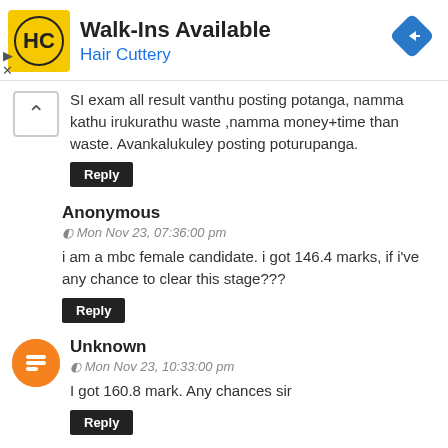[Figure (infographic): Advertisement banner for Hair Cuttery with yellow HC logo, 'Walk-Ins Available' title, 'Hair Cuttery' subtitle in blue, and a blue navigation diamond icon on the right.]
SI exam all result vanthu posting potanga, namma kathu irukurathu waste ,namma money+time than waste. Avankalukuley posting poturupanga.
Reply
Anonymous
Mon Nov 23, 07:36:00 pm
i am a mbc female candidate. i got 146.4 marks, if i've any chance to clear this stage???
Reply
Unknown
Mon Nov 23, 10:33:00 pm
I got 160.8 mark. Any chances sir
Reply